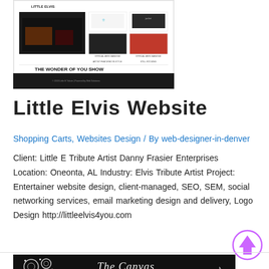[Figure (screenshot): Screenshot of Little Elvis website showing navigation with images of Elvis tribute artist merchandise and performance photos, with 'THE WONDER OF YOU SHOW' text and dark footer]
Little Elvis Website
Shopping Carts, Websites Design / By web-designer-in-denver
Client: Little E Tribute Artist Danny Frasier Enterprises Location: Oneonta, AL Industry: Elvis Tribute Artist Project: Entertainer website design, client-managed, SEO, SEM, social networking services, email marketing design and delivery, Logo Design http://littleelvis4you.com
[Figure (photo): Bottom portion of another website/item partially visible - appears to be jewelry or decorative items on dark background with cursive text 'The Canvas']